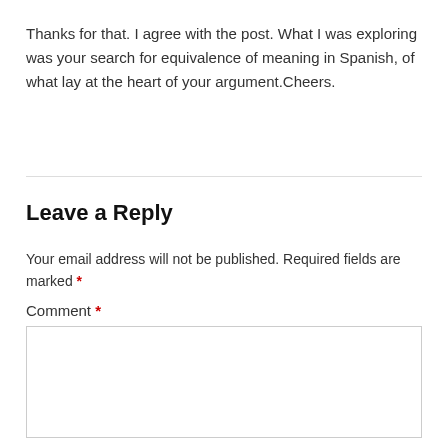Thanks for that. I agree with the post. What I was exploring was your search for equivalence of meaning in Spanish, of what lay at the heart of your argument.Cheers.
Leave a Reply
Your email address will not be published. Required fields are marked *
Comment *